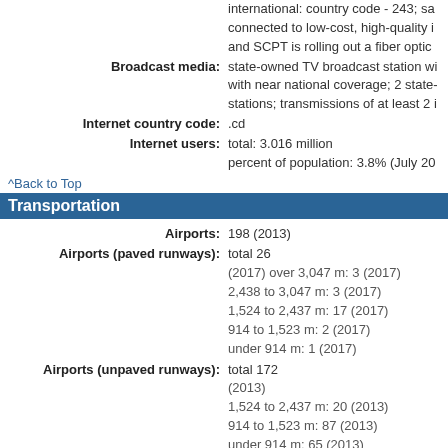international: country code - 243; sa connected to low-cost, high-quality i and SCPT is rolling out a fiber optic
Broadcast media: state-owned TV broadcast station wi with near national coverage; 2 state- stations; transmissions of at least 2 i
Internet country code: .cd
Internet users: total: 3.016 million percent of population: 3.8% (July 20
^Back to Top
Transportation
Airports: 198 (2013)
Airports (paved runways): total 26 (2017) over 3,047 m: 3 (2017) 2,438 to 3,047 m: 3 (2017) 1,524 to 2,437 m: 17 (2017) 914 to 1,523 m: 2 (2017) under 914 m: 1 (2017)
Airports (unpaved runways): total 172 (2013) 1,524 to 2,437 m: 20 (2013) 914 to 1,523 m: 87 (2013) under 914 m: 65 (2013)
Heliports: 1 (2013)
Pipelines: 62 km gas, 77 km oil, 756 km refined
Railways: total 4,007 km